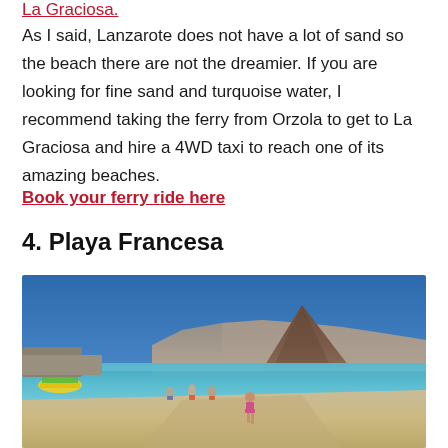La Graciosa.
As I said, Lanzarote does not have a lot of sand so the beach there are not the dreamier. If you are looking for fine sand and turquoise water, I recommend taking the ferry from Orzola to get to La Graciosa and hire a 4WD taxi to reach one of its amazing beaches.
Book your ferry ride here
4. Playa Francesa
[Figure (photo): A beach scene at Playa Francesa, La Graciosa. Turquoise water on the left with a yellow and green pedal boat, people wading in the water, a woman in a pink bikini walking on the sandy beach, and a large volcanic mountain in the background under a clear blue sky.]